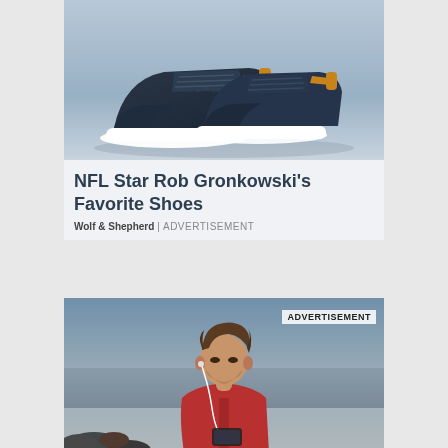[Figure (photo): Dark navy sneakers/shoes with tan leather accents and white soles displayed on a blue-grey background]
NFL Star Rob Gronkowski's Favorite Shoes
Wolf & Shepherd | ADVERTISEMENT
[Figure (photo): Man in red hoodie with earphones looking down, standing near water with rocks, ADVERTISEMENT label overlay in top right]